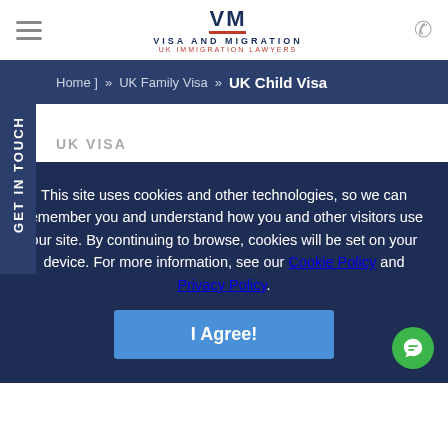[Figure (logo): Visa and Migration UK Immigration Lawyers logo with VM letters]
[ Home ] » UK Family Visa » UK Child Visa
UK VISA
This site uses cookies and other technologies, so we can remember you and understand how you and other visitors use our site. By continuing to browse, cookies will be set on your device. For more information, see our Cookie Policy and Privacy Policy.
I Agree!